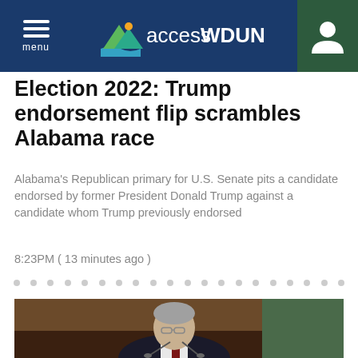accessWDUN
Election 2022: Trump endorsement flip scrambles Alabama race
Alabama's Republican primary for U.S. Senate pits a candidate endorsed by former President Donald Trump against a candidate whom Trump previously endorsed
8:23PM ( 13 minutes ago )
[Figure (photo): A man with gray hair and glasses sitting at a desk with a microphone, wearing a dark suit with a dark red tie, appearing to speak or testify]